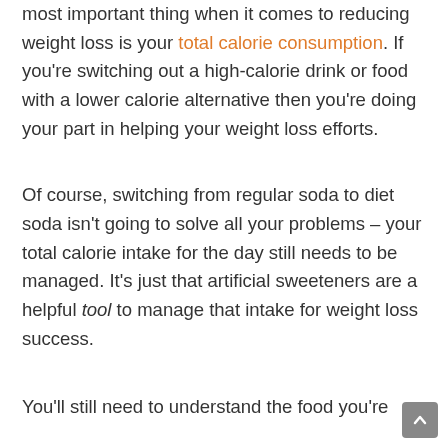most important thing when it comes to reducing weight loss is your total calorie consumption. If you're switching out a high-calorie drink or food with a lower calorie alternative then you're doing your part in helping your weight loss efforts.
Of course, switching from regular soda to diet soda isn't going to solve all your problems – your total calorie intake for the day still needs to be managed. It's just that artificial sweeteners are a helpful tool to manage that intake for weight loss success.
You'll still need to understand the food you're